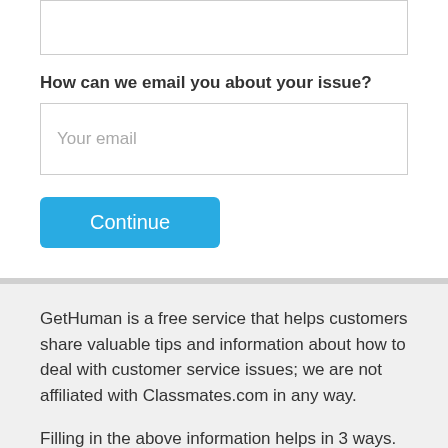[Figure (screenshot): Text input textarea box (partial, cropped at top)]
How can we email you about your issue?
[Figure (screenshot): Email input field with placeholder text 'Your email']
[Figure (screenshot): Blue 'Continue' button]
GetHuman is a free service that helps customers share valuable tips and information about how to deal with customer service issues; we are not affiliated with Classmates.com in any way.
Filling in the above information helps in 3 ways. First,